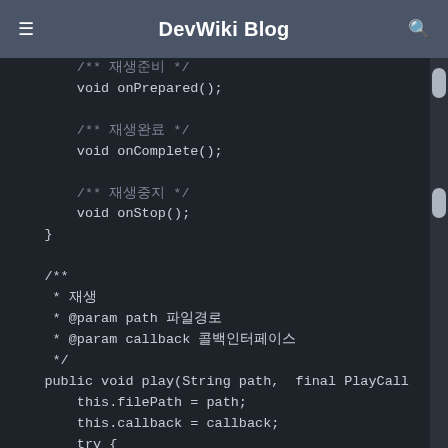DevWiki Blog
[Figure (screenshot): Dark-themed code editor screenshot showing Java code with Javadoc comments and method definitions including onPrepared(), onComplete(), onStop(), and play(String path, final PlayCallback ...) with body containing this.filePath = path; this.callback = callback; try { mediaPlayer.reset(); mediaPlayer.setDataSource(context, U... mediaPlayer.prepare();]